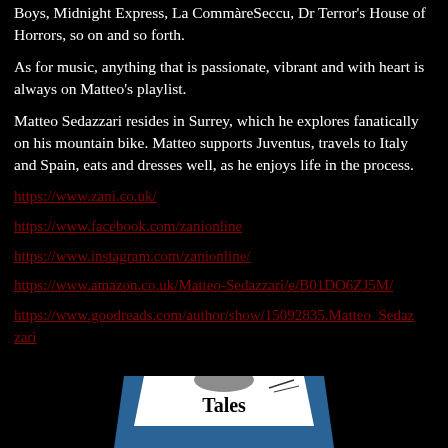Boys, Midnight Express, La CommàreSeccu, Dr Terror's House of Horrors, so on and so forth.
As for music, anything that is passionate, vibrant and with heart is always on Matteo's playlist.
Matteo Sedazzari resides in Surrey, which he explores fanatically on his mountain bike. Matteo supports Juventus, travels to Italy and Spain, eats and dresses well, as he enjoys life in the process.
https://www.zani.co.uk/
https://www.facebook.com/zanionline
https://www.instagram.com/zanionline/
https://www.amazon.co.uk/Matteo-Sedazzari/e/B01DO6ZJ5M/
https://www.goodreads.com/author/show/15092835.Matteo_Sedazzari
[Figure (photo): Book cover showing 'Tales' text with blue and white design, partially visible at bottom of page]